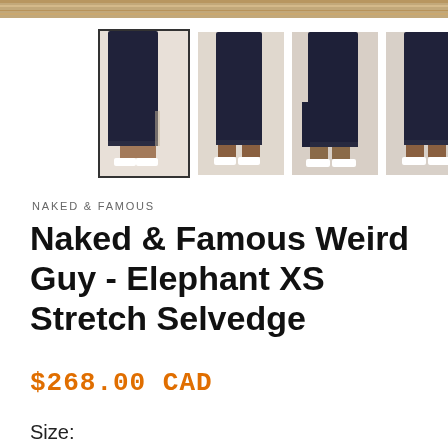[Figure (photo): Top bar with wooden surface background]
[Figure (photo): Four thumbnail photos of a man wearing dark navy/black selvedge jeans with white sneakers, showing different angles and fits. First thumbnail has a dark border indicating it is selected.]
NAKED & FAMOUS
Naked & Famous Weird Guy - Elephant XS Stretch Selvedge
$268.00 CAD
Size: